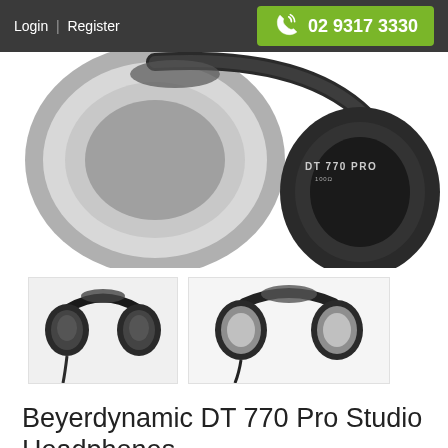Login | Register   02 9317 3330
[Figure (photo): Close-up photo of a Beyerdynamic DT 770 PRO studio headphone showing the ear cup, headband padding, and cable. The model name 'DT 770 PRO' is visible on the ear cup.]
[Figure (photo): Thumbnail image of Beyerdynamic DT 770 Pro headphones shown from the front-left angle, full view on dark background.]
[Figure (photo): Thumbnail image of Beyerdynamic DT 770 Pro headphones shown from a slightly elevated front angle, displaying ear cup padding.]
Beyerdynamic DT 770 Pro Studio Headphones